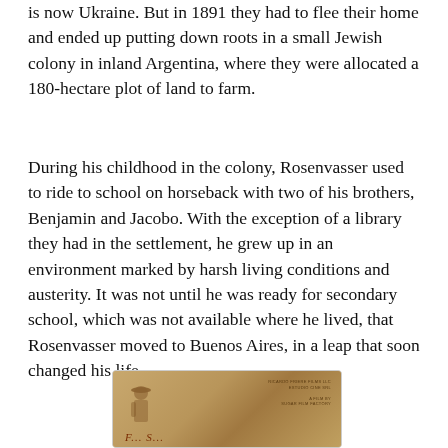is now Ukraine. But in 1891 they had to flee their home and ended up putting down roots in a small Jewish colony in inland Argentina, where they were allocated a 180-hectare plot of land to farm.
During his childhood in the colony, Rosenvasser used to ride to school on horseback with two of his brothers, Benjamin and Jacobo. With the exception of a library they had in the settlement, he grew up in an environment marked by harsh living conditions and austerity. It was not until he was ready for secondary school, which was not available where he lived, that Rosenvasser moved to Buenos Aires, in a leap that soon changed his life.
[Figure (photo): Sepia-toned photograph or film poster showing a person in a hat viewed from behind, with text referencing 'Ricardo Friere Films LLC', 'Estudio Cine SRL', and 'Sugar Film Factory']